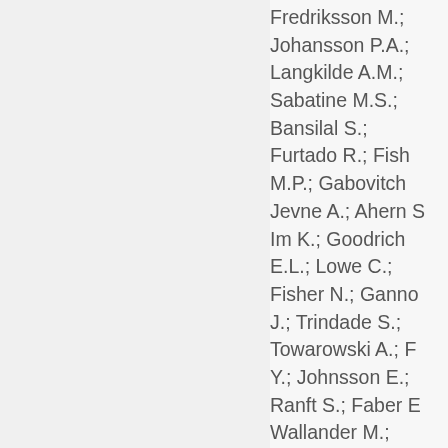Fredriksson M.; Johansson P.A.; Langkilde A.M.; Sabatine M.S.; Bansilal S.; Furtado R.; Fish M.P.; Gabovitch Jevne A.; Ahern Im K.; Goodrich E.L.; Lowe C.; Fisher N.; Ganno J.; Trindade S.; Towarowski A.; Y.; Johnsson E.; Ranft S.; Faber E Wallander M.; Weiss A.; Buskila A.; Abola M.T.B.; Ardissino D.; Arber O.